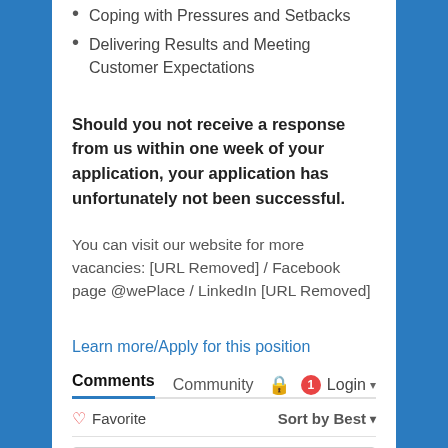Coping with Pressures and Setbacks
Delivering Results and Meeting Customer Expectations
Should you not receive a response from us within one week of your application, your application has unfortunately not been successful.
You can visit our website for more vacancies: [URL Removed] / Facebook page @wePlace / LinkedIn [URL Removed]
Learn more/Apply for this position
Comments  Community  🔒  1  Login ▾
♡ Favorite   Sort by Best ▾